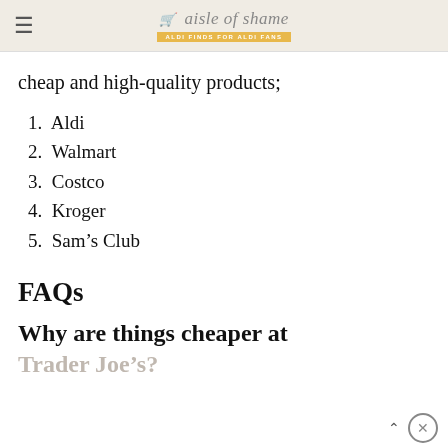aisle of shame — ALDI FINDS FOR ALDI FANS
cheap and high-quality products;
1. Aldi
2. Walmart
3. Costco
4. Kroger
5. Sam's Club
FAQs
Why are things cheaper at
Trader Joe's?